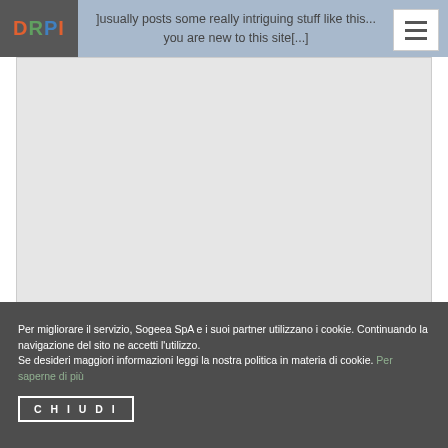[Figure (logo): DRPI logo in colored letters on dark gray background]
]usually posts some really intriguing stuff like this... you are new to this site[...]
Per migliorare il servizio, Sogeea SpA e i suoi partner utilizzano i cookie. Continuando la navigazione del sito ne accetti l'utilizzo.
Se desideri maggiori informazioni leggi la nostra politica in materia di cookie. Per saperne di più
CHIUDI